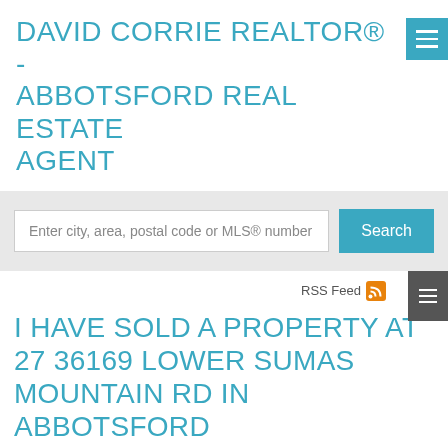DAVID CORRIE REALTOR® - ABBOTSFORD REAL ESTATE AGENT
Enter city, area, postal code or MLS® number
Search
RSS Feed
I HAVE SOLD A PROPERTY AT 27 36169 LOWER SUMAS MOUNTAIN RD IN ABBOTSFORD
Posted on October 18, 2019 by David Corrie